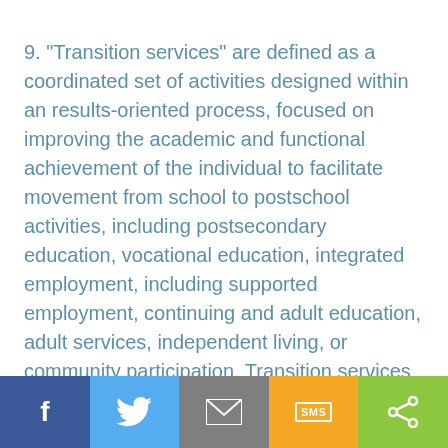9. "Transition services" are defined as a coordinated set of activities designed within an results-oriented process, focused on improving the academic and functional achievement of the individual to facilitate movement from school to postschool activities, including postsecondary education, vocational education, integrated employment, including supported employment, continuing and adult education, adult services, independent living, or community participation. Transition services are to be based upon individual needs, taking into account individual strengths,
Social share bar: Facebook, Twitter, Email, SMS, Share